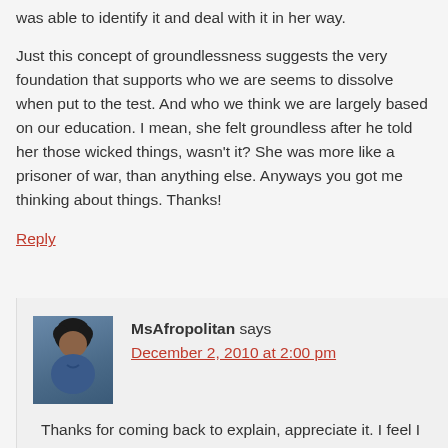was able to identify it and deal with it in her way.
Just this concept of groundlessness suggests the very foundation that supports who we are seems to dissolve when put to the test. And who we think we are largely based on our education. I mean, she felt groundless after he told her those wicked things, wasn't it? She was more like a prisoner of war, than anything else. Anyways you got me thinking about things. Thanks!
Reply
MsAfropolitan says
December 2, 2010 at 2:00 pm
Thanks for coming back to explain, appreciate it. I feel I need to watch the clip in its fullness!